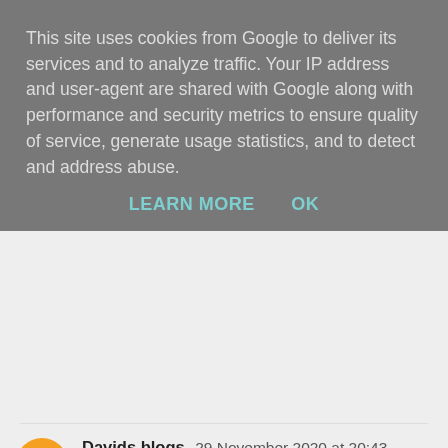This site uses cookies from Google to deliver its services and to analyze traffic. Your IP address and user-agent are shared with Google along with performance and security metrics to ensure quality of service, generate usage statistics, and to detect and address abuse.
LEARN MORE   OK
từ Việt Nam bay sang Anh mất bao lâu
xem vé máy bay giá rẻ
ve may bay di san francisco
giá vé máy bay đi Los Angeles
Reply
Davids blogs 29 November 2020 at 20:43
You have great gardening skills. The plants look really healthy. Thank you for sharing this with us.
Image editing service